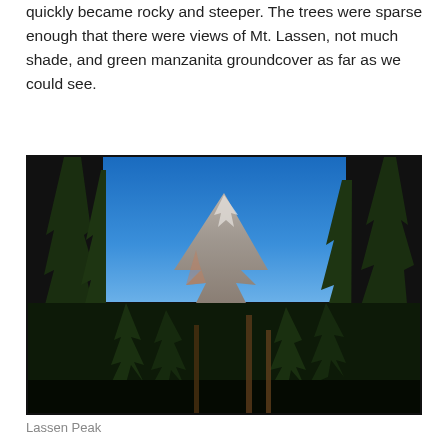quickly became rocky and steeper. The trees were sparse enough that there were views of Mt. Lassen, not much shade, and green manzanita groundcover as far as we could see.
[Figure (photo): Photograph of Mt. Lassen (Lassen Peak) viewed through tall conifer trees under a clear blue sky. The rocky volcanic peak is visible in the center background, with dense pine forest in the foreground and sides.]
Lassen Peak